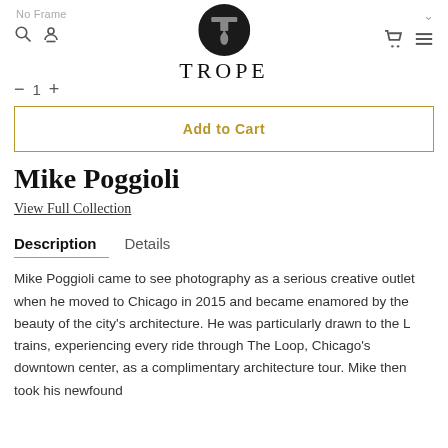No Frame | TROPE
Add to Cart
Mike Poggioli
View Full Collection
Description   Details
Mike Poggioli came to see photography as a serious creative outlet when he moved to Chicago in 2015 and became enamored by the beauty of the city's architecture. He was particularly drawn to the L trains, experiencing every ride through The Loop, Chicago's downtown center, as a complimentary architecture tour. Mike then took his newfound